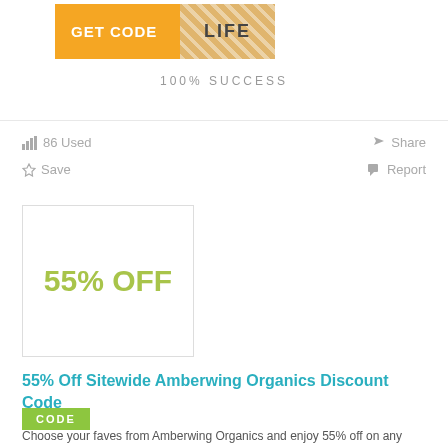[Figure (other): Orange GET CODE banner with hatched reveal area showing 'LIFE' text]
100% SUCCESS
86 Used
Share
Save
Report
[Figure (other): Coupon box with 55% OFF in yellow-green text]
55% Off Sitewide Amberwing Organics Discount Code
CODE
Choose your faves from Amberwing Organics and enjoy 55% off on any sit...More